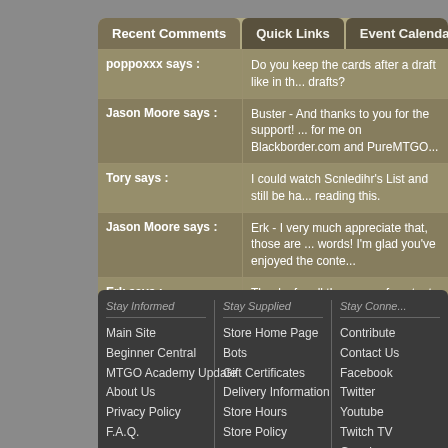Recent Comments | Quick Links | Event Calendar | Ba...
| Author | Comment |
| --- | --- |
| poppoxxx says : | Do you keep the cards after a draft like in th... drafts? |
| Jason Moore says : | Buster - And thanks to you for the support! ... for me on Blackborder.com and PureMTGO... |
| Tory says : | I could watch Scnledihr's List and still be ha... reading this. |
| Jason Moore says : | Erk - I very much appreciate that, those are ... words! I'm glad you've enjoyed the conte... |
| Erk says : | Thanks for all the years of content here! All ... things must come to an end. I don't play pa... |
Stay Informed | Stay Supplied | Stay Conne...
Main Site
Beginner Central
MTGO Academy Update
About Us
Privacy Policy
F.A.Q.
Store Home Page
Bots
Gift Certificates
Delivery Information
Store Hours
Store Policy
Contribute
Contact Us
Facebook
Twitter
Youtube
Twitch TV
Google+
Copyrigh...